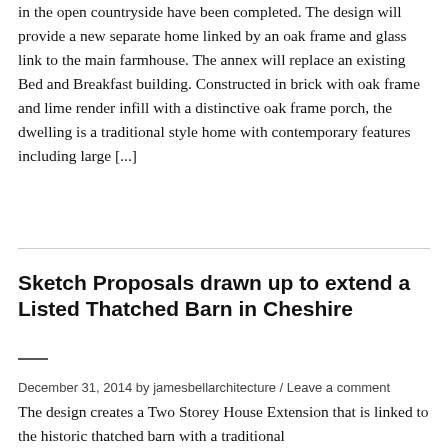in the open countryside have been completed.  The design will provide a new separate home linked by an oak frame and glass link to the main farmhouse.  The annex will replace an existing Bed and Breakfast building.  Constructed in brick with oak frame and lime render infill with a distinctive oak frame porch, the dwelling is a traditional style home with contemporary features including large [...]
Sketch Proposals drawn up to extend a Listed Thatched Barn in Cheshire
December 31, 2014 by jamesbellarchitecture  /  Leave a comment
The design creates a Two Storey House Extension that is linked to the historic thatched barn with a traditional...